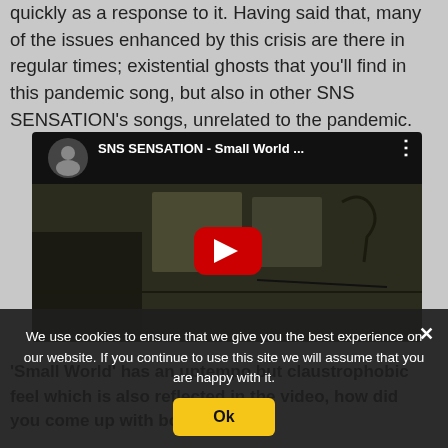quickly as a response to it. Having said that, many of the issues enhanced by this crisis are there in regular times; existential ghosts that you'll find in this pandemic song, but also in other SNS SENSATION's songs, unrelated to the pandemic.
[Figure (screenshot): Embedded YouTube video player showing SNS SENSATION - Small World ... with a dark room background and red play button]
We use cookies to ensure that we give you the best experience on our website. If you continue to use this site we will assume that you are happy with it.
'Small World' has an uptempo but claustrophobic feel which is also reflected in the video, how did you come up with both?